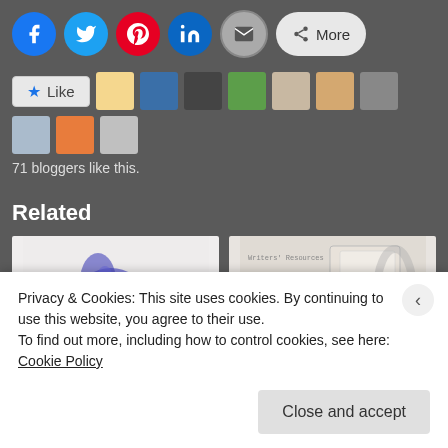[Figure (other): Social sharing buttons: Facebook, Twitter, Pinterest, LinkedIn, Email, More]
[Figure (other): Like button and 10 blogger avatars]
71 bloggers like this.
Related
[Figure (photo): Thumbnail image of ink/paint splatter art (blue/purple)]
[Figure (photo): Thumbnail image: Writers' Resources - Let's Get Published with books]
Privacy & Cookies: This site uses cookies. By continuing to use this website, you agree to their use.
To find out more, including how to control cookies, see here: Cookie Policy
Close and accept